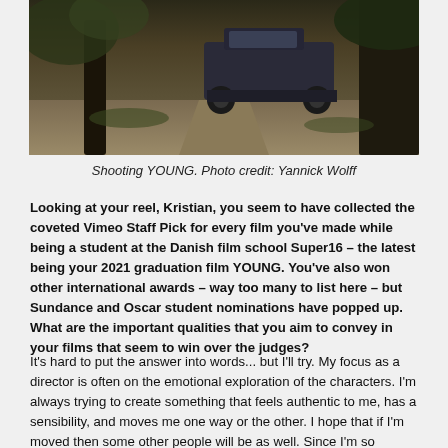[Figure (photo): A dark outdoor scene showing a vehicle (likely a truck or 4x4) on a dirt path between trees, photographed in moody low light.]
Shooting YOUNG. Photo credit: Yannick Wolff
Looking at your reel, Kristian, you seem to have collected the coveted Vimeo Staff Pick for every film you've made while being a student at the Danish film school Super16 – the latest being your 2021 graduation film YOUNG. You've also won other international awards – way too many to list here – but Sundance and Oscar student nominations have popped up. What are the important qualities that you aim to convey in your films that seem to win over the judges?
It's hard to put the answer into words... but I'll try. My focus as a director is often on the emotional exploration of the characters. I'm always trying to create something that feels authentic to me, has a sensibility, and moves me one way or the other. I hope that if I'm moved then some other people will be as well. Since I'm so involved in the writing process it's also easier to find those strong moments